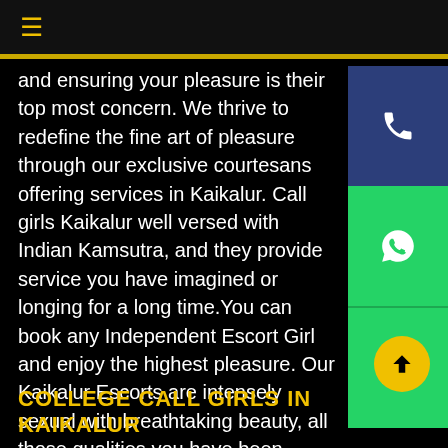≡
and ensuring your pleasure is their top most concern. We thrive to redefine the fine art of pleasure through our exclusive courtesans offering services in Kaikalur. Call girls Kaikalur well versed with Indian Kamsutra, and they provide service you have imagined or longing for a long time.You can book any Independent Escort Girl and enjoy the highest pleasure. Our Kaikalur Escorts are intensely sexual with breathtaking beauty, all those qualities you have been lingering for.
COLLEGE CALL GIRLS IN KAIKALUR